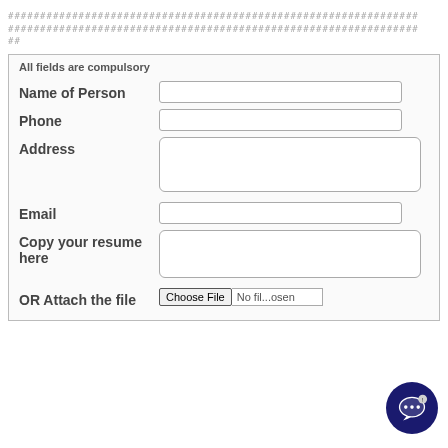################################################################ ################################################################ ##
All fields are compulsory
Name of Person
Phone
Address
Email
Copy your resume here
OR Attach the file
[Figure (illustration): Dark navy blue circular chat/message bubble icon with ellipsis dots, positioned bottom right corner]